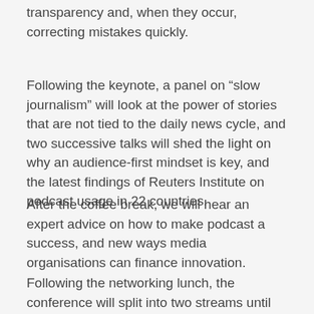transparency and, when they occur, correcting mistakes quickly.
Following the keynote, a panel on “slow journalism” will look at the power of stories that are not tied to the daily news cycle, and two successive talks will shed the light on why an audience-first mindset is key, and the latest findings of Reuters Institute on podcast usage in 22 countries.
After the coffee break, we will hear an expert advice on how to make podcast a success, and new ways media organisations can finance innovation.
Following the networking lunch, the conference will split into two streams until later in the day. The panel sessions